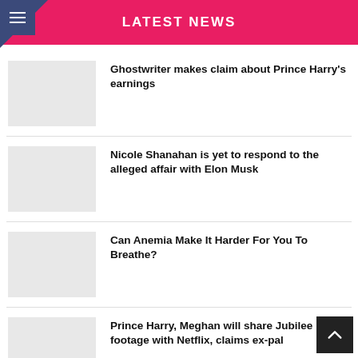LATEST NEWS
Ghostwriter makes claim about Prince Harry's earnings
Nicole Shanahan is yet to respond to the alleged affair with Elon Musk
Can Anemia Make It Harder For You To Breathe?
Prince Harry, Meghan will share Jubilee footage with Netflix, claims ex-pal